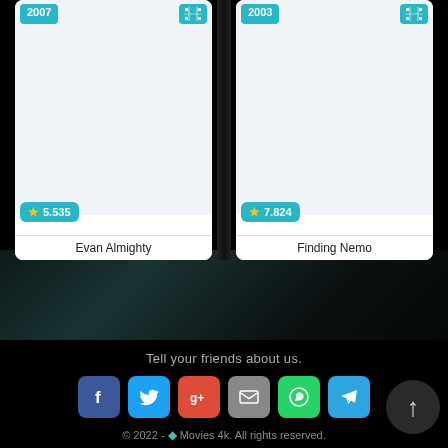[Figure (screenshot): Movie card for Evan Almighty (2007) with rating badge showing star 5.535, film icon badge, and light gray poster area]
Evan Almighty
[Figure (screenshot): Movie card for Finding Nemo (2003) with rating badge showing star 7.824, film icon badge, and light gray poster area]
Finding Nemo
Tell your friends about us.
[Figure (infographic): Row of social media share buttons: Facebook (blue), Twitter (light blue), Google+ (red), Email (gray), WhatsApp (green), Telegram (blue)]
© 2022 - Movies 4k. All rights reserved.